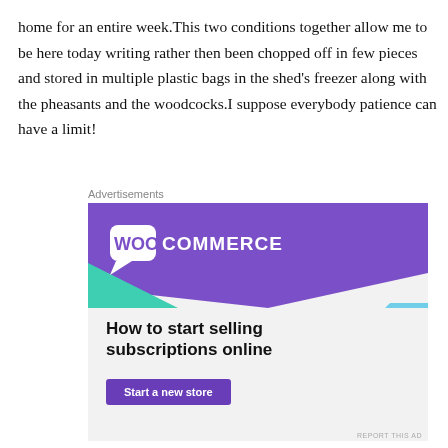home for an entire week.This two conditions together allow me to be here today writing rather then been chopped off in few pieces and stored in multiple plastic bags in the shed's freezer along with the pheasants and the woodcocks.I suppose everybody patience can have a limit!
Advertisements
[Figure (illustration): WooCommerce advertisement banner. Purple diagonal background with WooCommerce logo (speech bubble icon and 'WOO COMMERCE' text in white). Teal triangle shape on left. Light blue curved shape on right. Text reads 'How to start selling subscriptions online' with a purple 'Start a new store' button. 'REPORT THIS AD' link at bottom right.]